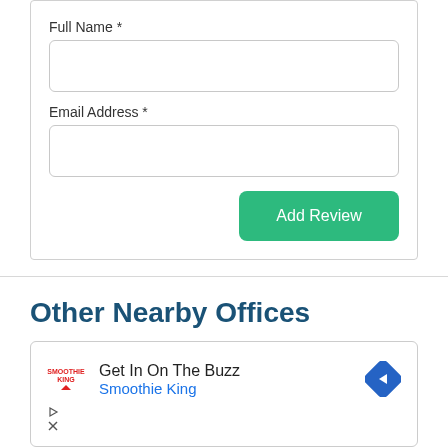Full Name *
[Figure (screenshot): Empty text input field for Full Name]
Email Address *
[Figure (screenshot): Empty text input field for Email Address]
[Figure (screenshot): Green 'Add Review' button]
Other Nearby Offices
[Figure (screenshot): Advertisement for Smoothie King: 'Get In On The Buzz' with logo, blue navigation arrow icon, play and close icons at bottom]